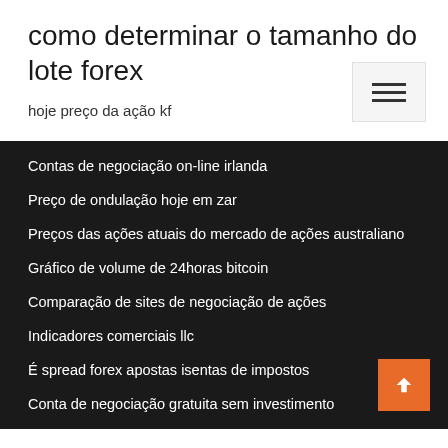como determinar o tamanho do lote forex
hoje preço da ação kf
Contas de negociação on-line irlanda
Preço de ondulação hoje em zar
Preços das ações atuais do mercado de ações australiano
Gráfico de volume de 24horas bitcoin
Comparação de sites de negociação de ações
Indicadores comerciais llc
É spread forex apostas isentas de impostos
Conta de negociação gratuita sem investimento